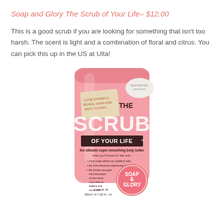Soap and Glory  The Scrub of Your Life– $12.00
This is a good scrub if you are looking for something that isn't too harsh.  The scent is light and a combination of floral and citrus.  You can pick this up in the US at Ulta!
[Figure (photo): Pink tube of Soap and Glory 'The Scrub of Your Life' body scrub product]